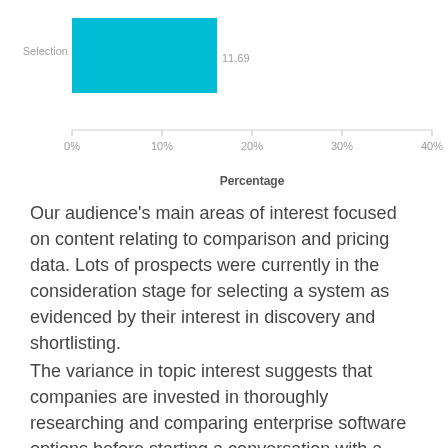[Figure (bar-chart): ]
Our audience's main areas of interest focused on content relating to comparison and pricing data. Lots of prospects were currently in the consideration stage for selecting a system as evidenced by their interest in discovery and shortlisting.
The variance in topic interest suggests that companies are invested in thoroughly researching and comparing enterprise software options before starting a conversation with a potential vendor.